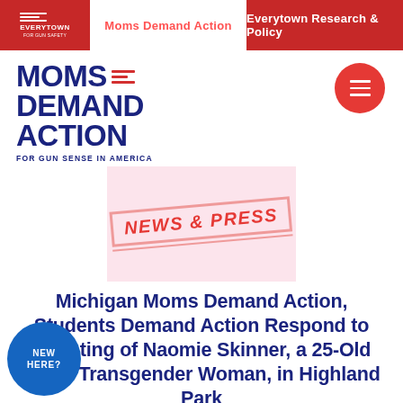Everytown for Gun Safety | Moms Demand Action | Everytown Research & Policy
[Figure (logo): Moms Demand Action for Gun Sense in America logo in navy blue with red horizontal lines]
[Figure (illustration): Red circle hamburger menu button]
[Figure (illustration): News & Press stamp on pink/light red background with italic red text]
Michigan Moms Demand Action, Students Demand Action Respond to Shooting of Naomie Skinner, a 25-Old Black Transgender Woman, in Highland Park
[Figure (illustration): Dark blue circle with 'NEW HERE?' text]